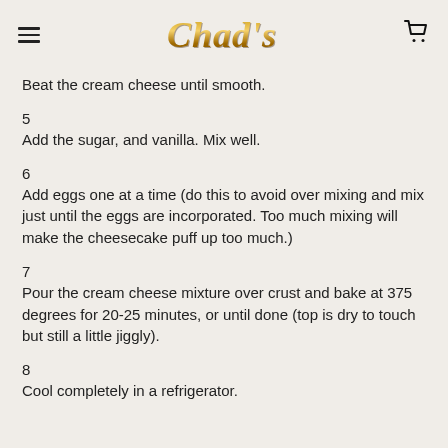Chad's
Beat the cream cheese until smooth.
5
Add the sugar, and vanilla. Mix well.
6
Add eggs one at a time (do this to avoid over mixing and mix just until the eggs are incorporated. Too much mixing will make the cheesecake puff up too much.)
7
Pour the cream cheese mixture over crust and bake at 375 degrees for 20-25 minutes, or until done (top is dry to touch but still a little jiggly).
8
Cool completely in a refrigerator.